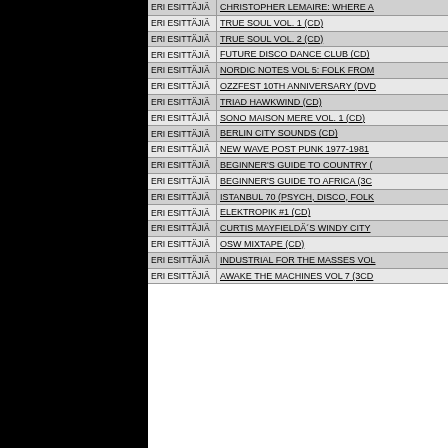|  |  |
| --- | --- |
| ERI ESITTÄJIÄ | CHRISTOPHER LEMAIRE: WHERE A |
| ERI ESITTÄJIÄ | TRUE SOUL VOL. 1 (CD) |
| ERI ESITTÄJIÄ | TRUE SOUL VOL. 2 (CD) |
| ERI ESITTÄJIÄ | FUTURE DISCO DANCE CLUB (CD) |
| ERI ESITTÄJIÄ | NORDIC NOTES VOL 5: FOLK FROM |
| ERI ESITTÄJIÄ | OZZFEST 10TH ANNIVERSARY (DVD |
| ERI ESITTÄJIÄ | TRIAD HAWKWIND (CD) |
| ERI ESITTÄJIÄ | SONO MAISON MERE VOL. 1 (CD) |
| ERI ESITTÄJIÄ | BERLIN CITY SOUNDS (CD) |
| ERI ESITTÄJIÄ | NEW WAVE POST PUNK 1977-1981 |
| ERI ESITTÄJIÄ | BEGINNER'S GUIDE TO COUNTRY ( |
| ERI ESITTÄJIÄ | BEGINNER'S GUIDE TO AFRICA (3C |
| ERI ESITTÄJIÄ | ISTANBUL 70 (PSYCH, DISCO, FOLK |
| ERI ESITTÄJIÄ | ELEKTROPIK #1 (CD) |
| ERI ESITTÄJIÄ | CURTIS MAYFIELDÄ´S WINDY CITY |
| ERI ESITTÄJIÄ | OSW MIXTAPE (CD) |
| ERI ESITTÄJIÄ | INDUSTRIAL FOR THE MASSES VOL |
| ERI ESITTÄJIÄ | AWAKE THE MACHINES VOL 7 (3CD |